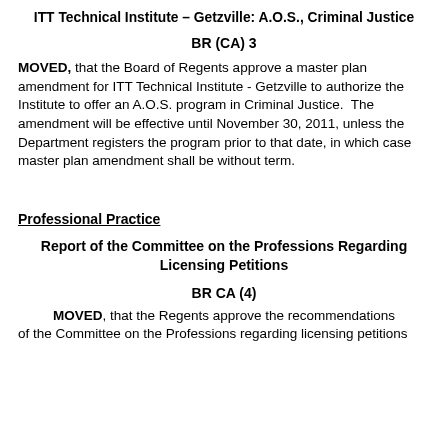ITT Technical Institute – Getzville: A.O.S., Criminal Justice
BR (CA) 3
MOVED, that the Board of Regents approve a master plan amendment for ITT Technical Institute - Getzville to authorize the Institute to offer an A.O.S. program in Criminal Justice.  The amendment will be effective until November 30, 2011, unless the Department registers the program prior to that date, in which case master plan amendment shall be without term.
Professional Practice
Report of the Committee on the Professions Regarding Licensing Petitions
BR CA (4)
MOVED, that the Regents approve the recommendations of the Committee on the Professions regarding licensing petitions